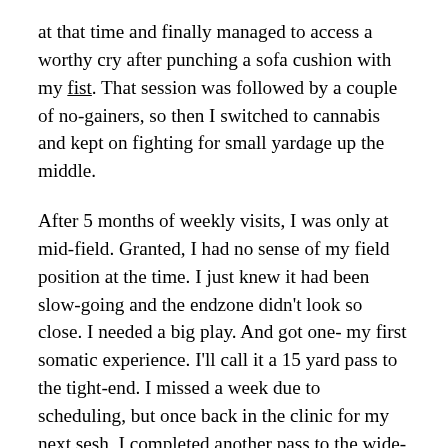at that time and finally managed to access a worthy cry after punching a sofa cushion with my fist. That session was followed by a couple of no-gainers, so then I switched to cannabis and kept on fighting for small yardage up the middle.
After 5 months of weekly visits, I was only at mid-field. Granted, I had no sense of my field position at the time. I just knew it had been slow-going and the endzone didn't look so close. I needed a big play. And got one- my first somatic experience. I'll call it a 15 yard pass to the tight-end. I missed a week due to scheduling, but once back in the clinic for my next sesh, I completed another pass to the wide-receiver for a gain of 20! Then, on my day of six somatic experience cycles...I scored a touchdown!
To be sure, this did not mean the game was won. Scoring a touchdown was a game-changer for sure